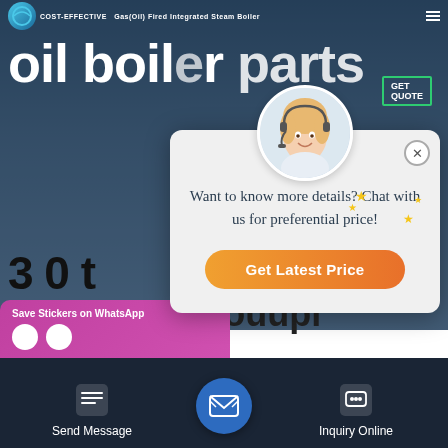COST-EFFECTIVE Gas(Oil) Fired Integrated Steam Boiler
oil boiler parts
[Figure (screenshot): Website screenshot showing a chat popup with customer service agent, 'Want to know more details? Chat with us for preferential price!' message and 'Get Latest Price' button, partially obscuring content about '30 t boiler parts - BBPTouupi']
Want to know more details? Chat with us for preferential price!
Get Latest Price
3 0 t          boiler parts - BBPTouupi
Send Message   Inquiry Online